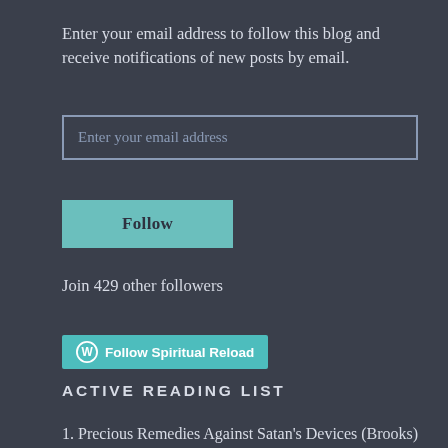Enter your email address to follow this blog and receive notifications of new posts by email.
[Figure (screenshot): Email input field with placeholder text 'Enter your email address']
[Figure (screenshot): Teal 'Follow' button]
Join 429 other followers
[Figure (screenshot): WordPress 'Follow Spiritual Reload' button with WordPress logo]
ACTIVE READING LIST
1. Precious Remedies Against Satan's Devices (Brooks)